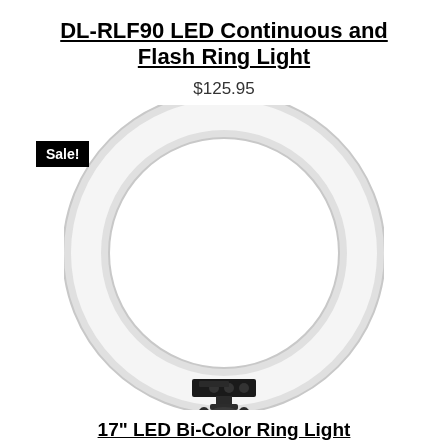DL-RLF90 LED Continuous and Flash Ring Light
$125.95
[Figure (photo): A white circular LED ring light with a black mounting bracket and ball head adapter at the bottom, shown against a white background. A black 'Sale!' badge label is overlaid in the top-left area.]
17" LED Bi-Color Ring Light